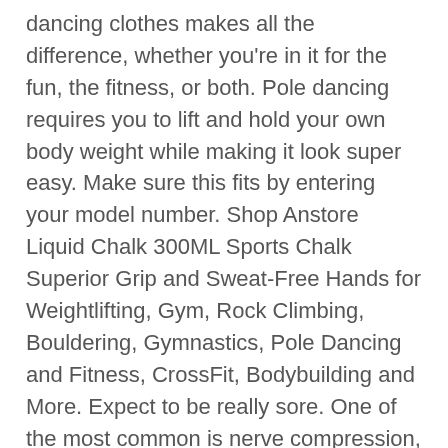dancing clothes makes all the difference, whether you're in it for the fun, the fitness, or both. Pole dancing requires you to lift and hold your own body weight while making it look super easy. Make sure this fits by entering your model number. Shop Anstore Liquid Chalk 300ML Sports Chalk Superior Grip and Sweat-Free Hands for Weightlifting, Gym, Rock Climbing, Bouldering, Gymnastics, Pole Dancing and Fitness, CrossFit, Bodybuilding and More. Expect to be really sore. One of the most common is nerve compression, especially the ulnar nerve if you have tingling or numbness in your fingers maybe you have nerve compression and it can be annoying. Review of the MiPole Removable Dance Pole… Pole-dancing tricks are also just really, really cool-looking, which is how I found myself in an introductory pole class one weekday evening. Signing up for online pole dancing classes is probably the most convenient way to learn at your own pace. Reserve your next lesson in advance as space is limited. I wake up each morning and